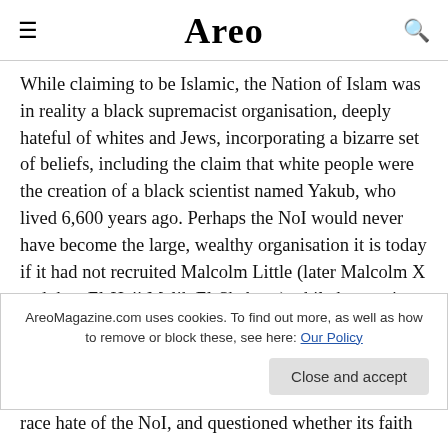Areo
While claiming to be Islamic, the Nation of Islam was in reality a black supremacist organisation, deeply hateful of whites and Jews, incorporating a bizarre set of beliefs, including the claim that white people were the creation of a black scientist named Yakub, who lived 6,600 years ago. Perhaps the NoI would never have become the large, wealthy organisation it is today if it had not recruited Malcolm Little (later Malcolm X and then El-Hajj Malik El-Shabazz) while he was in prison. Malcolm's rhetorical skill, charismatic good looks and genius-level
AreoMagazine.com uses cookies. To find out more, as well as how to remove or block these, see here: Our Policy
race hate of the NoI, and questioned whether its faith